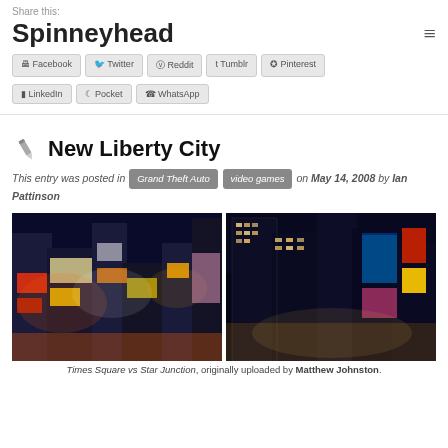Share this:
Spinneyhead
Facebook  Twitter  Reddit  Tumblr  Pinterest  LinkedIn  Pocket  WhatsApp
New Liberty City
This entry was posted in Grand Theft Auto  video games on May 14, 2008 by Ian Pattinson
[Figure (photo): Side-by-side comparison of Times Square (real) and Star Junction from GTA IV, both showing city buildings at night with bright lights and billboards]
Times Square vs Star Junction, originally uploaded by Matthew Johnston.